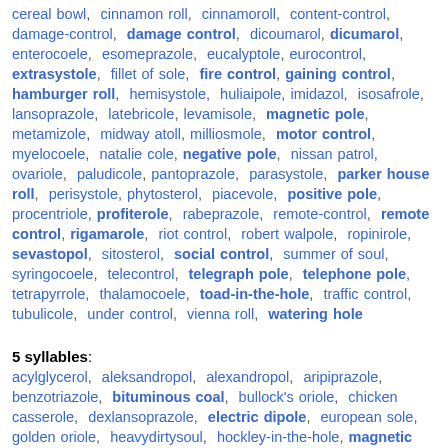cereal bowl, cinnamon roll, cinnamoroll, content-control, damage-control, damage control, dicoumarol, dicumarol, enterocoele, esomeprazole, eucalyptole, eurocontrol, extrasystole, fillet of sole, fire control, gaining control, hamburger roll, hemisystole, huliaipole, imidazol, isosafrole, lansoprazole, latebricole, levamisole, magnetic pole, metamizole, midway atoll, milliosmole, motor control, myelocoele, natalie cole, negative pole, nissan patrol, ovariole, paludicole, pantoprazole, parasystole, parker house roll, perisystole, phytosterol, piacevole, positive pole, procentriole, profiterole, rabeprazole, remote-control, remote control, rigamarole, riot control, robert walpole, ropinirole, sevastopol, sitosterol, social control, summer of soul, syringocoele, telecontrol, telegraph pole, telephone pole, tetrapyrrole, thalamocoele, toad-in-the-hole, traffic control, tubulicole, under control, vienna roll, watering hole
5 syllables:
acylglycerol, aleksandropol, alexandropol, aripiprazole, benzotriazole, bituminous coal, bullock's oriole, chicken casserole, dexlansoprazole, electric dipole, european sole, golden oriole, heavydirtysoul, hockley-in-the-hole, magnetic dipole, marsupial mole, maximumrocknroll, motortoriale, new world oriole, northern oriole, north...